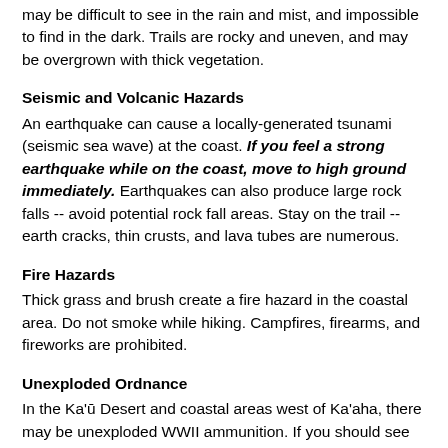may be difficult to see in the rain and mist, and impossible to find in the dark. Trails are rocky and uneven, and may be overgrown with thick vegetation.
Seismic and Volcanic Hazards
An earthquake can cause a locally-generated tsunami (seismic sea wave) at the coast. If you feel a strong earthquake while on the coast, move to high ground immediately. Earthquakes can also produce large rock falls -- avoid potential rock fall areas. Stay on the trail -- earth cracks, thin crusts, and lava tubes are numerous.
Fire Hazards
Thick grass and brush create a fire hazard in the coastal area. Do not smoke while hiking. Campfires, firearms, and fireworks are prohibited.
Unexploded Ordnance
In the Ka'ū Desert and coastal areas west of Ka'aha, there may be unexploded WWII ammunition. If you should see any, DO NOT